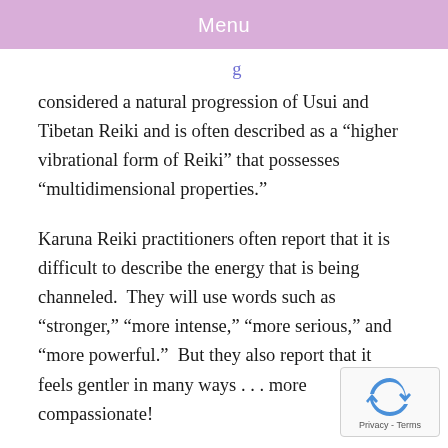Menu
considered a natural progression of Usui and Tibetan Reiki and is often described as a “higher vibrational form of Reiki” that possesses “multidimensional properties.”
Karuna Reiki practitioners often report that it is difficult to describe the energy that is being channeled.  They will use words such as “stronger,” “more intense,” “more serious,” and “more powerful.”  But they also report that it feels gentler in many ways . . . more compassionate!